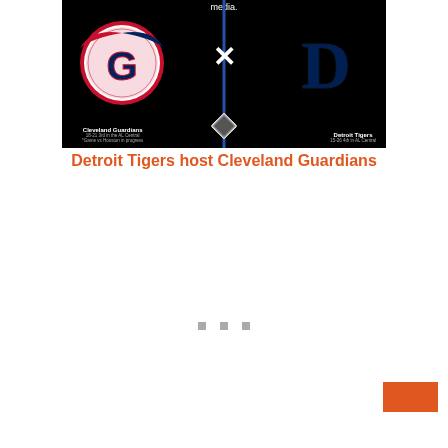[Figure (photo): Cleveland Guardians vs Detroit Tigers matchup graphic on black background. Left side shows Cleveland Guardians logo (G with wings on baseball), right side shows Detroit Tigers logo (D), separated by a blue vertical bar with an X symbol in the center and a baseball diamond icon at the bottom. Team names and records shown below logos.]
Detroit Tigers host Cleveland Guardians
[Figure (other): Three gray square dots serving as pagination or slide indicator]
[Figure (other): Orange rectangle button/element in lower right corner]